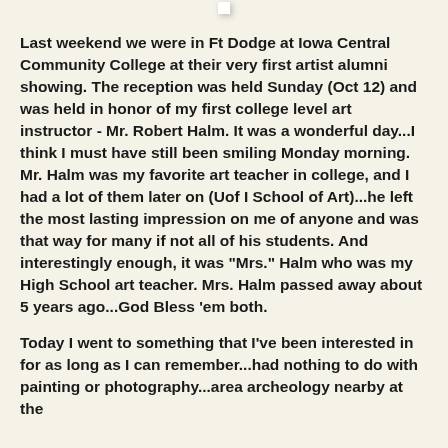[Figure (photo): Black and white or muted-color photograph of two people (men) standing together outdoors, both wearing jackets. Photo is displayed in a white frame with drop shadow on a light cream background.]
Last weekend we were in Ft Dodge at Iowa Central Community College at their very first artist alumni showing. The reception was held Sunday (Oct 12) and was held in honor of my first college level art instructor - Mr. Robert Halm. It was a wonderful day...I think I must have still been smiling Monday morning. Mr. Halm was my favorite art teacher in college, and I had a lot of them later on (Uof I School of Art)...he left the most lasting impression on me of anyone and was that way for many if not all of his students. And interestingly enough, it was "Mrs." Halm who was my High School art teacher. Mrs. Halm passed away about 5 years ago...God Bless 'em both.
Today I went to something that I've been interested in for as long as I can remember...had nothing to do with painting or photography...area archeology nearby at the